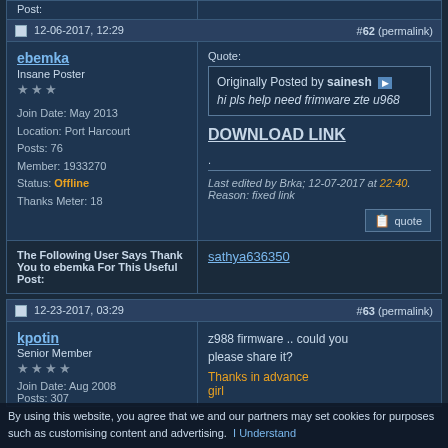Post:
12-06-2017, 12:29   #62 (permalink)
ebemka
Insane Poster
***
Join Date: May 2013
Location: Port Harcourt
Posts: 76
Member: 1933270
Status: Offline
Thanks Meter: 18
Quote:
Originally Posted by sainesh
hi pls help need frimware zte u968
DOWNLOAD LINK
.
Last edited by Brka; 12-07-2017 at 22:40. Reason: fixed link
The Following User Says Thank You to ebemka For This Useful Post:
sathya636350
12-23-2017, 03:29   #63 (permalink)
kpotin
z988 firmware .. could you please share it?
Thanks in advance
girl
Join Date: Aug 2008
Posts: 307
By using this website, you agree that we and our partners may set cookies for purposes such as customising content and advertising.  I Understand